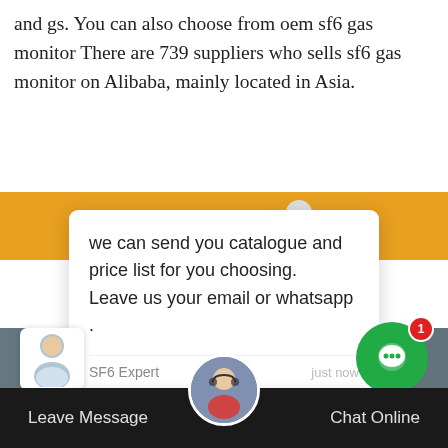and gs. You can also choose from oem sf6 gas monitor There are 739 suppliers who sells sf6 gas monitor on Alibaba, mainly located in Asia.
[Figure (screenshot): Chat popup overlay showing message: 'we can send you catalogue and price list for you choosing. Leave us your email or whatsapp .' from SF6 Expert, with reply input box, green chat bubble with notification badge 1, and bottom bar with Leave Message and Chat Online buttons.]